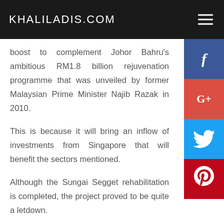KHALILADIS.COM
boost to complement Johor Bahru's ambitious RM1.8 billion rejuvenation programme that was unveiled by former Malaysian Prime Minister Najib Razak in 2010.
This is because it will bring an inflow of investments from Singapore that will benefit the sectors mentioned.
Although the Sungai Segget rehabilitation is completed, the project proved to be quite a letdown.
The project was spearheaded by the Iskandar Regional Development Authority (IRDA) with a reportedly whopping RM20 million consultation fee.